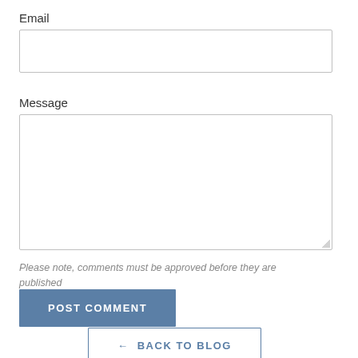Email
Message
Please note, comments must be approved before they are published
POST COMMENT
← BACK TO BLOG